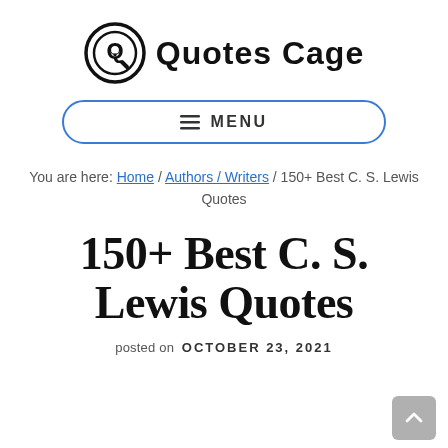Quotes Cage
[Figure (logo): Quotes Cage logo: circular Q with a lightbulb inside, next to bold text 'Quotes Cage']
≡ MENU
You are here: Home / Authors / Writers / 150+ Best C. S. Lewis Quotes
150+ Best C. S. Lewis Quotes
posted on OCTOBER 23, 2021